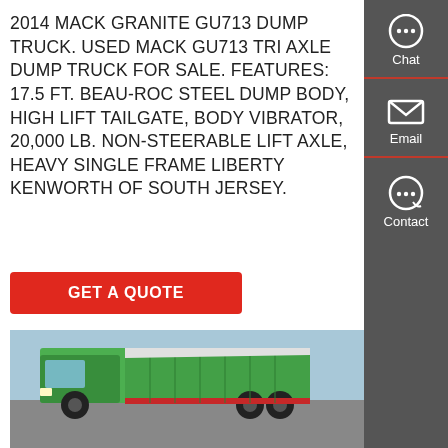2014 MACK GRANITE GU713 DUMP TRUCK. USED MACK GU713 TRI AXLE DUMP TRUCK FOR SALE. FEATURES: 17.5 FT. BEAU-ROC STEEL DUMP BODY, HIGH LIFT TAILGATE, BODY VIBRATOR, 20,000 LB. NON-STEERABLE LIFT AXLE, HEAVY SINGLE FRAME LIBERTY KENWORTH OF SOUTH JERSEY.
GET A QUOTE
[Figure (photo): Green dump truck (Sinotruk HOWO style) parked in an industrial yard with blue sky background]